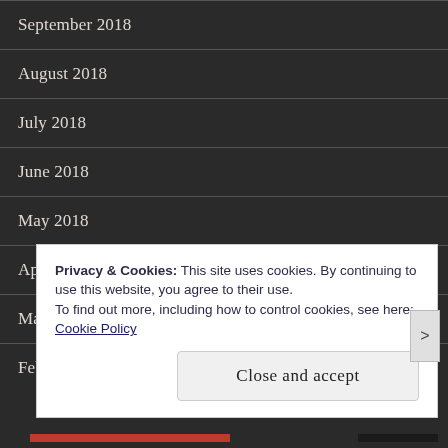September 2018
August 2018
July 2018
June 2018
May 2018
April 2018
March 2018
February 2018
Privacy & Cookies: This site uses cookies. By continuing to use this website, you agree to their use.
To find out more, including how to control cookies, see here: Cookie Policy
Close and accept